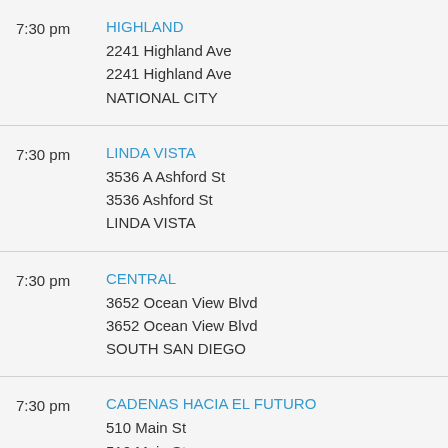7:30 pm | HIGHLAND | 2241 Highland Ave | 2241 Highland Ave | NATIONAL CITY
7:30 pm | LINDA VISTA | 3536 A Ashford St | 3536 Ashford St | LINDA VISTA
7:30 pm | CENTRAL | 3652 Ocean View Blvd | 3652 Ocean View Blvd | SOUTH SAN DIEGO
7:30 pm | CADENAS HACIA EL FUTURO | 510 Main St | 510 Main St | EL CENTRO